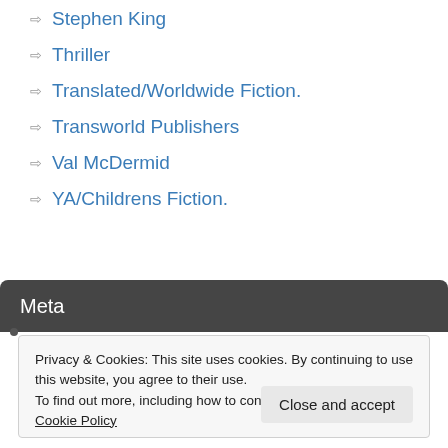Stephen King
Thriller
Translated/Worldwide Fiction.
Transworld Publishers
Val McDermid
YA/Childrens Fiction.
Meta
Privacy & Cookies: This site uses cookies. By continuing to use this website, you agree to their use.
To find out more, including how to control cookies, see here: Cookie Policy